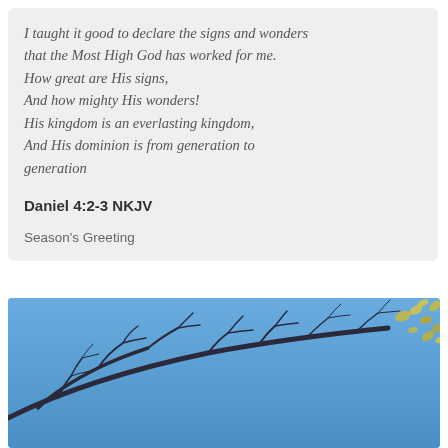I taught it good to declare the signs and wonders that the Most High God has worked for me. How great are His signs, And how mighty His wonders! His kingdom is an everlasting kingdom, And His dominion is from generation to generation
Daniel 4:2-3 NKJV
Season's Greeting
[Figure (photo): Photo looking up at tree branches with bare dark branches against a bright blue sky, with some yellow-green leaves visible in the upper right corner.]